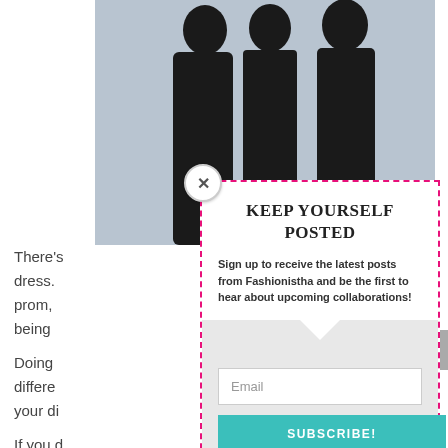[Figure (photo): Three women in black dresses posed against a light gray background]
There's ... ack dress. ... for prom, ... bout it being ... hough.
Doing ... g different ... up your di...
If you d... ack number... Peaches Boutique sells sophisticated black homecoming dresses 2018 collection.
You can find a range of styles to suit different
[Figure (screenshot): Email subscription modal popup with dashed pink border. Title: KEEP YOURSELF POSTED. Body: Sign up to receive the latest posts from Fashionistha and be the first to hear about upcoming collaborations! Email input field and SUBSCRIBE! button in teal.]